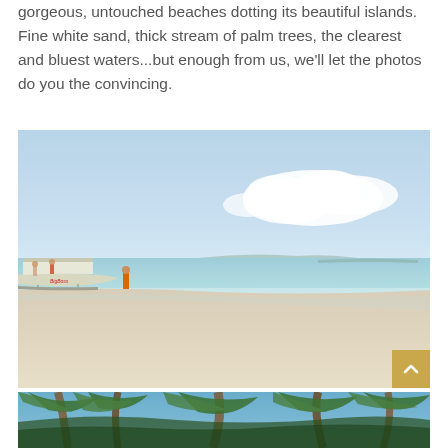gorgeous, untouched beaches dotting its beautiful islands. Fine white sand, thick stream of palm trees, the clearest and bluest waters...but enough from us, we'll let the photos do you the convincing.
[Figure (photo): A tropical beach scene with white sand, clear shallow water, blue sky with white clouds, and a traditional outrigger boat on the left with people standing near it. A person in orange stands on the beach.]
[Figure (photo): Palm trees viewed from below against a blue sky, showing green fronds and trunks.]